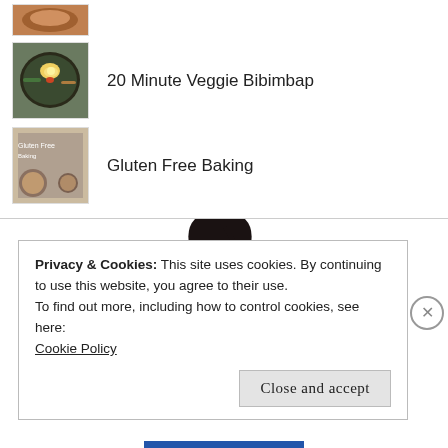(top crop, food image)
20 Minute Veggie Bibimbap
Gluten Free Baking
[Figure (photo): Person in ballet pose, black pants and white lace-up shoes, white background]
Privacy & Cookies: This site uses cookies. By continuing to use this website, you agree to their use.
To find out more, including how to control cookies, see here:
Cookie Policy
Close and accept